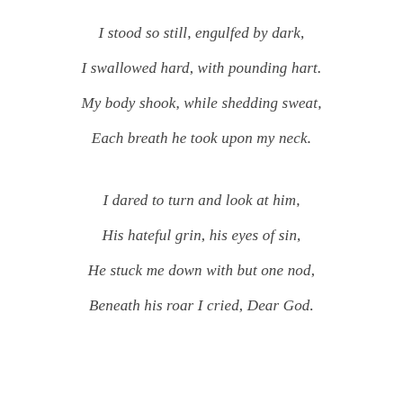I stood so still, engulfed by dark,
I swallowed hard, with pounding hart.
My body shook, while shedding sweat,
Each breath he took upon my neck.

I dared to turn and look at him,
His hateful grin, his eyes of sin,
He stuck me down with but one nod,
Beneath his roar I cried, Dear God.